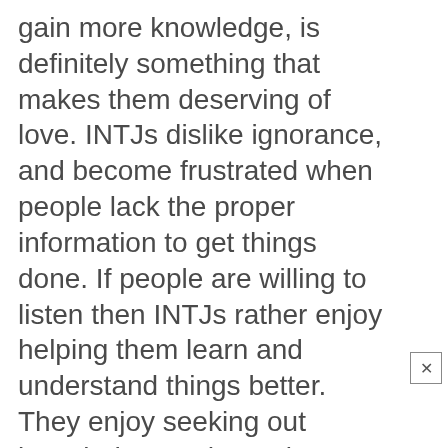gain more knowledge, is definitely something that makes them deserving of love. INTJs dislike ignorance, and become frustrated when people lack the proper information to get things done. If people are willing to listen then INTJs rather enjoy helping them learn and understand things better. They enjoy seeking out knowledge, and are always curious about the world around them. This innate desire to understand everything better, makes INTJs incredibly intelligent and driven individuals. They are surprisingly helpful to others, especially when people are seeking out sincere advice.